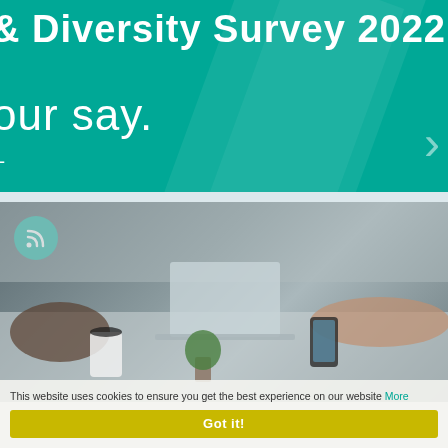& Diversity Survey 2022
our say.
[Figure (photo): Screenshot of a website showing a Diversity Survey 2022 banner in teal/green with white text saying '& Diversity Survey 2022' and 'our say.' Below is a photo of people working at a desk with laptops, a coffee cup, and a small plant. An RSS icon circle is visible in the top-left of the photo.]
This website uses cookies to ensure you get the best experience on our website More
Got it!